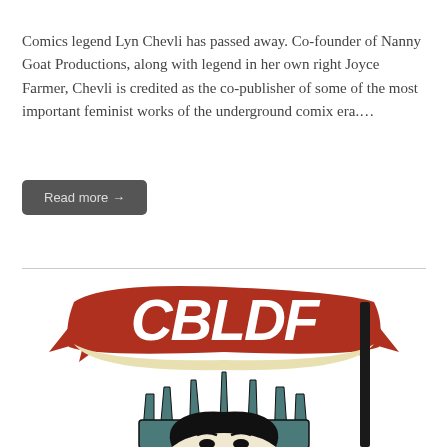Comics legend Lyn Chevli has passed away. Co-founder of Nanny Goat Productions, along with legend in her own right Joyce Farmer, Chevli is credited as the co-publisher of some of the most important feminist works of the underground comix era.…
Read more →
[Figure (logo): CBLDF logo featuring a red banner with white italic bold text 'CBLDF' and the top of a Statue of Liberty illustration beneath it]